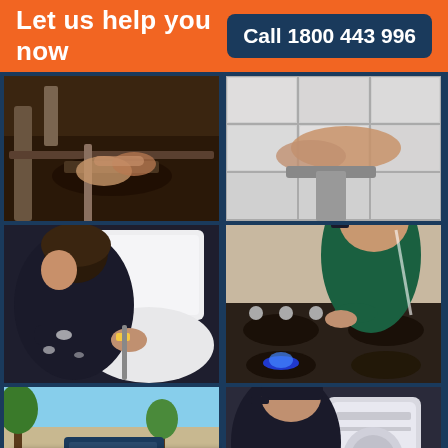Let us help you now   Call 1800 443 996
[Figure (photo): Plumber's hands working on pipes under a sink, dirty/muddy conditions]
[Figure (photo): Hands working on white bathroom tiles, fitting or sealing]
[Figure (photo): Plumber in dark uniform working on a toilet cistern]
[Figure (photo): Technician in green uniform checking a gas stove burner]
[Figure (photo): Exterior shot of a property/van, with Google Rating overlay showing 4.8 stars based on 2,456 reviews]
[Figure (photo): Plumber in cap working on a hot water system cylinder]